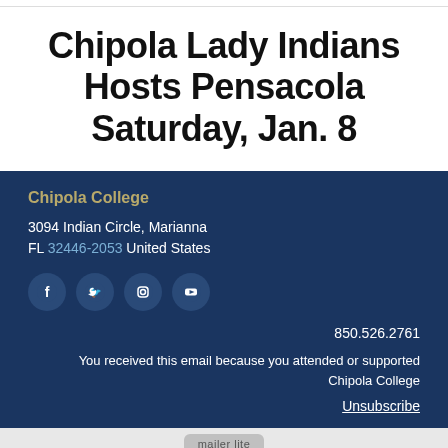Chipola Lady Indians Hosts Pensacola Saturday, Jan. 8
Chipola College
3094 Indian Circle, Marianna FL 32446-2053 United States
[Figure (other): Social media icons for Facebook, Twitter, Instagram, and YouTube]
850.526.2761
You received this email because you attended or supported Chipola College
Unsubscribe